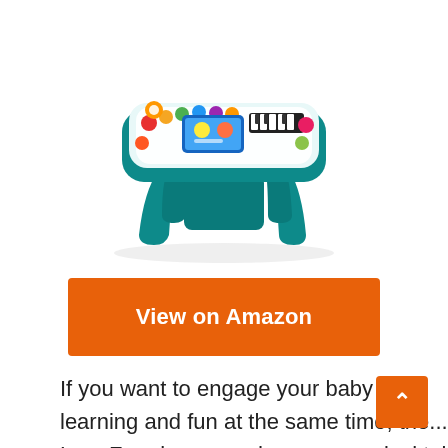[Figure (photo): LeapFrog Learn and Groove Musical Table toy — teal/white activity table with colorful interactive elements on top surface and four teal curved legs, shown on white background]
View on Amazon
If you want to engage your baby in learning and fun at the same time, the LeapFrog learns and groove musical table